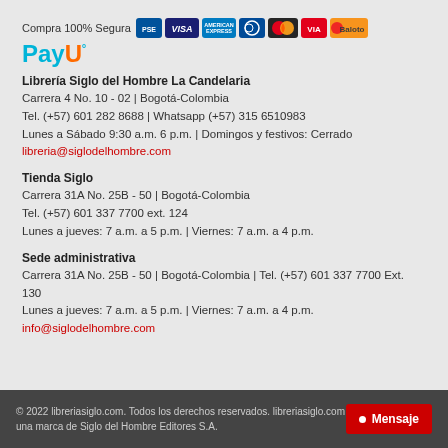[Figure (other): Payment method logos: PSE, VISA, American Express, Diners Club, MasterCard, VIA, Baloto, and PayU logo]
Librería Siglo del Hombre La Candelaria
Carrera 4 No. 10 - 02 | Bogotá-Colombia
Tel. (+57) 601 282 8688 | Whatsapp (+57) 315 6510983
Lunes a Sábado 9:30 a.m. 6 p.m. | Domingos y festivos: Cerrado
libreria@siglodelhombre.com
Tienda Siglo
Carrera 31A No. 25B - 50 | Bogotá-Colombia
Tel. (+57) 601 337 7700 ext. 124
Lunes a jueves: 7 a.m. a 5 p.m. | Viernes: 7 a.m. a 4 p.m.
Sede administrativa
Carrera 31A No. 25B - 50 | Bogotá-Colombia | Tel. (+57) 601 337 7700 Ext. 130
Lunes a jueves: 7 a.m. a 5 p.m. | Viernes: 7 a.m. a 4 p.m.
info@siglodelhombre.com
© 2022 libreriasiglo.com. Todos los derechos reservados. libreriasiglo.com una marca de Siglo del Hombre Editores S.A.